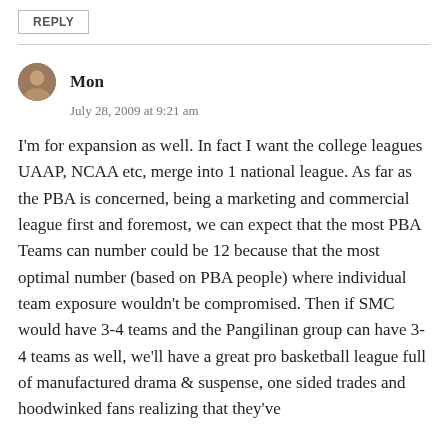REPLY
Mon
July 28, 2009 at 9:21 am
I'm for expansion as well. In fact I want the college leagues UAAP, NCAA etc, merge into 1 national league. As far as the PBA is concerned, being a marketing and commercial league first and foremost, we can expect that the most PBA Teams can number could be 12 because that the most optimal number (based on PBA people) where individual team exposure wouldn't be compromised. Then if SMC would have 3-4 teams and the Pangilinan group can have 3-4 teams as well, we'll have a great pro basketball league full of manufactured drama & suspense, one sided trades and hoodwinked fans realizing that they've